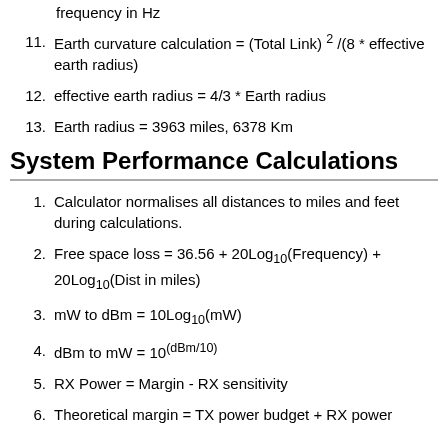frequency in Hz
11. Earth curvature calculation = (Total Link) 2 /(8 * effective earth radius)
12. effective earth radius = 4/3 * Earth radius
13. Earth radius = 3963 miles, 6378 Km
System Performance Calculations
1. Calculator normalises all distances to miles and feet during calculations.
2. Free space loss = 36.56 + 20Log10(Frequency) + 20Log10(Dist in miles)
3. mW to dBm = 10Log10(mW)
4. dBm to mW = 10(dBm/10)
5. RX Power = Margin - RX sensitivity
6. Theoretical margin = TX power budget + RX power